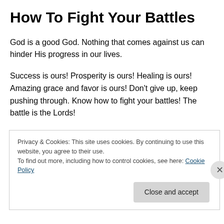How To Fight Your Battles
God is a good God. Nothing that comes against us can hinder His progress in our lives.
Success is ours! Prosperity is ours! Healing is ours! Amazing grace and favor is ours! Don't give up, keep pushing through. Know how to fight your battles! The battle is the Lords!
We may feel surrounded by the enemy in every area of
Privacy & Cookies: This site uses cookies. By continuing to use this website, you agree to their use.
To find out more, including how to control cookies, see here: Cookie Policy
Close and accept